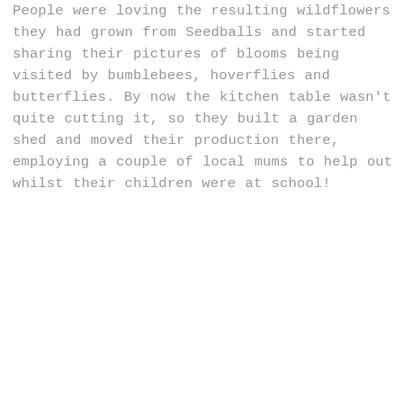People were loving the resulting wildflowers they had grown from Seedballs and started sharing their pictures of blooms being visited by bumblebees, hoverflies and butterflies. By now the kitchen table wasn't quite cutting it, so they built a garden shed and moved their production there, employing a couple of local mums to help out whilst their children were at school!